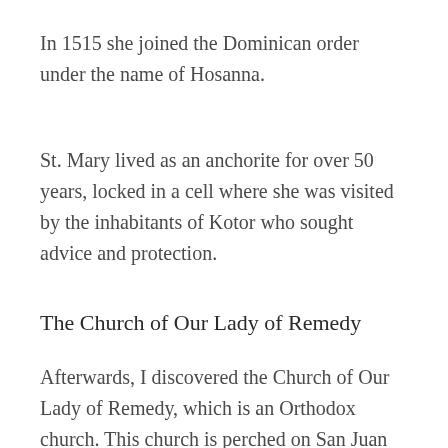In 1515 she joined the Dominican order under the name of Hosanna.
St. Mary lived as an anchorite for over 50 years, locked in a cell where she was visited by the inhabitants of Kotor who sought advice and protection.
The Church of Our Lady of Remedy
Afterwards, I discovered the Church of Our Lady of Remedy, which is an Orthodox church. This church is perched on San Juan...